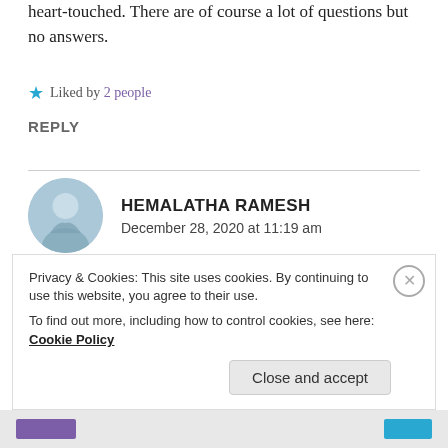heart-touched. There are of course a lot of questions but no answers.
★ Liked by 2 people
REPLY
HEMALATHA RAMESH
December 28, 2020 at 11:19 am
Thank you so much for reading, ma'am. Exactly!
Privacy & Cookies: This site uses cookies. By continuing to use this website, you agree to their use.
To find out more, including how to control cookies, see here: Cookie Policy